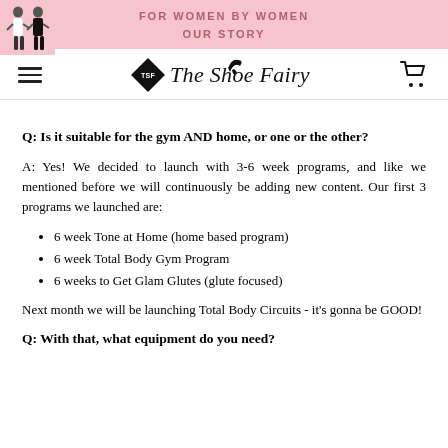FOR WOMEN BY WOMEN
OUR STORY
[Figure (logo): The Shoe Fairy logo with diamond TSF emblem and italic script text]
Q: Is it suitable for the gym AND home, or one or the other?
A: Yes! We decided to launch with 3-6 week programs, and like we mentioned before we will continuously be adding new content. Our first 3 programs we launched are:
6 week Tone at Home (home based program)
6 week Total Body Gym Program
6 weeks to Get Glam Glutes (glute focused)
Next month we will be launching Total Body Circuits - it's gonna be GOOD!
Q: With that, what equipment do you need?